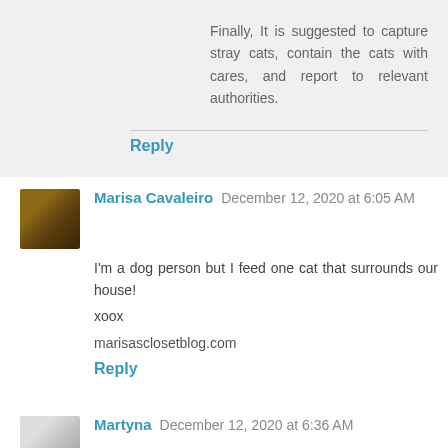Finally, It is suggested to capture stray cats, contain the cats with cares, and report to relevant authorities.
Reply
Marisa Cavaleiro  December 12, 2020 at 6:05 AM
I'm a dog person but I feed one cat that surrounds our house!
xoox

marisasclosetblog.com
Reply
Martyna  December 12, 2020 at 6:36 AM